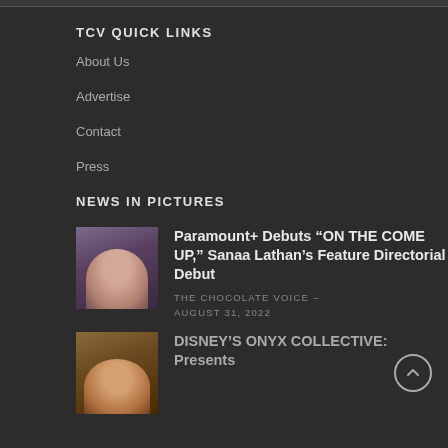TCV QUICK LINKS
About Us
Advertise
Contact
Press
NEWS IN PICTURES
[Figure (photo): Headshot of a woman against dark purple background]
Paramount+ Debuts “ON THE COME UP,” Sanaa Lathan’s Feature Directorial Debut
THE CHOCOLATE VOICE – AUGUST 31, 2022
[Figure (photo): Headshot of a woman against warm brown background]
DISNEY’S ONYX COLLECTIVE: Presents